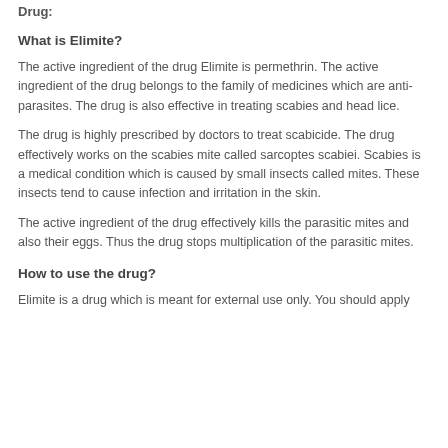Drug:
What is Elimite?
The active ingredient of the drug Elimite is permethrin. The active ingredient of the drug belongs to the family of medicines which are anti-parasites. The drug is also effective in treating scabies and head lice.
The drug is highly prescribed by doctors to treat scabicide. The drug effectively works on the scabies mite called sarcoptes scabiei. Scabies is a medical condition which is caused by small insects called mites. These insects tend to cause infection and irritation in the skin.
The active ingredient of the drug effectively kills the parasitic mites and also their eggs. Thus the drug stops multiplication of the parasitic mites.
How to use the drug?
Elimite is a drug which is meant for external use only. You should apply